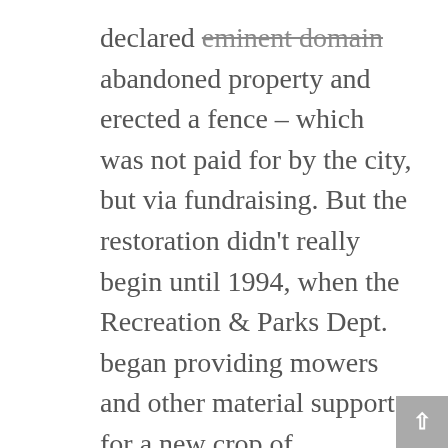declared eminent domain [strikethrough] abandoned property and erected a fence – which was not paid for by the city, but via fundraising. But the restoration didn't really begin until 1994, when the Recreation & Parks Dept. began providing mowers and other material support for a new crop of volunteers. City crews were also made available to provide heavy labor, such as dealing with fallen trees. This effort is still ongoing.
Despite this being an all-out campaign to restore the Rural Cemetery, things didn't immediately turn around. Some sections